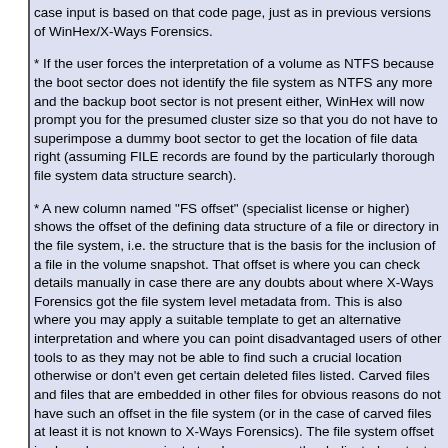case input is based on that code page, just as in previous versions of WinHex/X-Ways Forensics.
* If the user forces the interpretation of a volume as NTFS because the boot sector does not identify the file system as NTFS any more and the backup boot sector is not present either, WinHex will now prompt you for the presumed cluster size so that you do not have to superimpose a dummy boot sector to get the location of file data right (assuming FILE records are found by the particularly thorough file system data structure search).
* A new column named "FS offset" (specialist license or higher) shows the offset of the defining data structure of a file or directory in the file system, i.e. the structure that is the basis for the inclusion of a file in the volume snapshot. That offset is where you can check details manually in case there are any doubts about where X-Ways Forensics got the file system level metadata from. This is also where you may apply a suitable template to get an alternative interpretation and where you can point disadvantaged users of other tools to as they may not be able to find such a crucial location otherwise or don't even get certain deleted files listed. Carved files and files that are embedded in other files for obvious reasons do not have such an offset in the file system (or in the case of carved files at least it is not known to X-Ways Forensics). The file system offset is also where you navigate to when you use the dedicated context menu command to locate a file's FILE record/inode/file entry/catalog key etc., as known fro